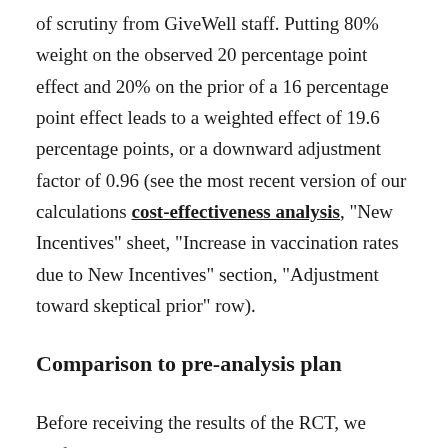of scrutiny from GiveWell staff. Putting 80% weight on the observed 20 percentage point effect and 20% on the prior of a 16 percentage point effect leads to a weighted effect of 19.6 percentage points, or a downward adjustment factor of 0.96 (see the most recent version of our calculations cost-effectiveness analysis, "New Incentives" sheet, "Increase in vaccination rates due to New Incentives" section, "Adjustment toward skeptical prior" row).
Comparison to pre-analysis plan
Before receiving the results of the RCT, we drafted a pre-analysis plan that described